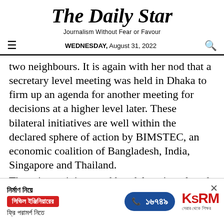The Daily Star
Journalism Without Fear or Favour
WEDNESDAY, August 31, 2022
two neighbours. It is again with her nod that a secretary level meeting was held in Dhaka to firm up an agenda for another meeting for decisions at a higher level later. These bilateral initiatives are well within the declared sphere of action by BIMSTEC, an economic coalition of Bangladesh, India, Singapore and Thailand.
The prime minister and her delegation played an equally crucial role in the same vein in the
[Figure (other): Advertisement banner for KSRM civil engineering consultation services with Bengali text, phone number 16749, and KSRM logo]